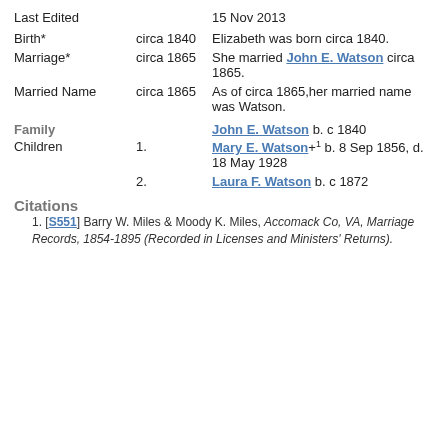Last Edited   15 Nov 2013
Birth*   circa 1840   Elizabeth was born circa 1840.
Marriage*   circa 1865   She married John E. Watson circa 1865.
Married Name   circa 1865   As of circa 1865,her married name was Watson.
Family
John E. Watson b. c 1840
Children   1.   Mary E. Watson+1 b. 8 Sep 1856, d. 18 May 1928
2.   Laura F. Watson b. c 1872
Citations
1. [S551] Barry W. Miles & Moody K. Miles, Accomack Co, VA, Marriage Records, 1854-1895 (Recorded in Licenses and Ministers' Returns).